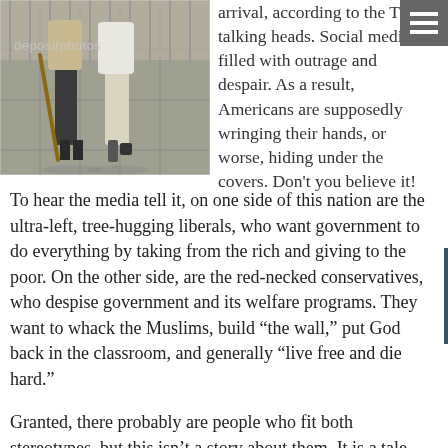[Figure (photo): Two elderly people walking with canes, lower bodies visible, on a tiled sidewalk. A depositphotos watermark is visible.]
arrival, according to the TV talking heads. Social media filled with outrage and despair. As a result, Americans are supposedly wringing their hands, or worse, hiding under the covers. Don't you believe it!
To hear the media tell it, on one side of this nation are the ultra-left, tree-hugging liberals, who want government to do everything by taking from the rich and giving to the poor. On the other side, are the red-necked conservatives, who despise government and its welfare programs. They want to whack the Muslims, build “the wall,” put God back in the classroom, and generally “live free and die hard.”
Granted, there probably are people who fit both stereotypes, but this isn’t a story about them. It is a tale about real Americans. It’s a story about getting off one’s butt, rolling up